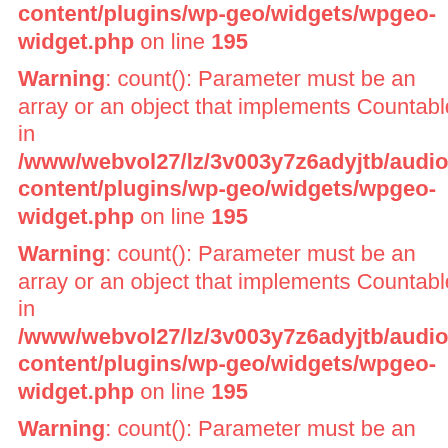content/plugins/wp-geo/widgets/wpgeo-widget.php on line 195
Warning: count(): Parameter must be an array or an object that implements Countable in /www/webvol27/lz/3v003y7z6adyjtb/audiogu content/plugins/wp-geo/widgets/wpgeo-widget.php on line 195
Warning: count(): Parameter must be an array or an object that implements Countable in /www/webvol27/lz/3v003y7z6adyjtb/audiogu content/plugins/wp-geo/widgets/wpgeo-widget.php on line 195
Warning: count(): Parameter must be an array or an object that implements Countable in /www/webvol27/lz/3v003y7z6adyjtb/audiogu content/plugins/wp-geo/widgets/wpgeo-widget.php on line 195
Warning: count(): Parameter must be an ar...